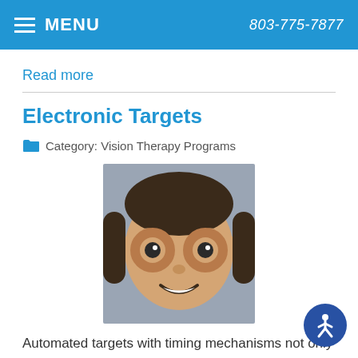MENU | 803-775-7877
Read more
Electronic Targets
Category: Vision Therapy Programs
[Figure (photo): Person making binocular-like shapes with their hands over their eyes, smiling]
Automated targets with timing mechanisms not only show the optometrist how the eyes move in the beginning of treatment – when eye problems have yet to be fully addressed – by strategically position